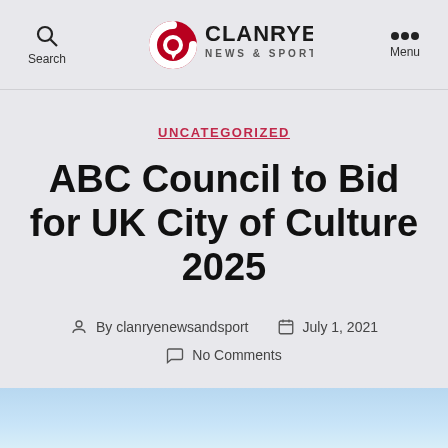Search | CLANRYE NEWS & SPORT | Menu
UNCATEGORIZED
ABC Council to Bid for UK City of Culture 2025
By clanryenewsandsport   July 1, 2021
No Comments